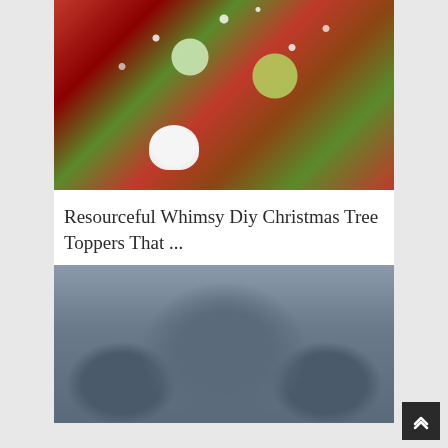[Figure (photo): A colorful DIY Christmas tree topper arrangement with Santa Claus figure, white fluffy decorations, red ribbons, green glittery mesh, and festive ornaments.]
Resourceful Whimsy Diy Christmas Tree Toppers That ...
[Figure (photo): A modern dark grey/slate blue upholstered armchair with tufted seat and wide arms, photographed on a white background.]